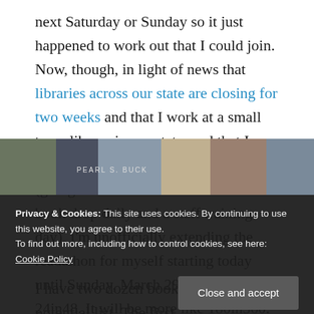next Saturday or Sunday so it just happened to work out that I could join. Now, though, in light of news that libraries across our state are closing for two weeks and that I work at a small town library in our state, and that I won't be working much of that time (going to be on a rotation to check the book drop daily and a staff training day), I'm unofficially extending the readathon for myself starting today until Sunday, March 29. It won't be 24in48. It will be more like 180in360. Ha.
I have two dozen books on the potential list. The first
Privacy & Cookies: This site uses cookies. By continuing to use this website, you agree to their use.
To find out more, including how to control cookies, see here: Cookie Policy
[Figure (photo): Bottom strip showing book spines including a Pearl S. Buck book]